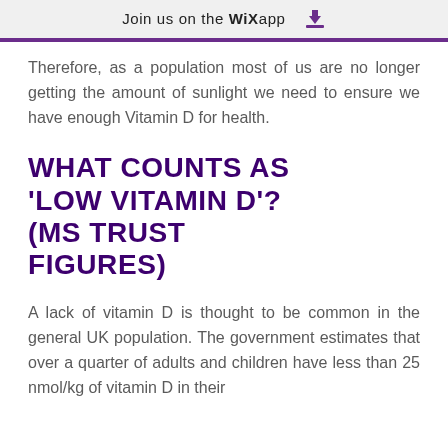Join us on the WiX app
Therefore, as a population most of us are no longer getting the amount of sunlight we need to ensure we have enough Vitamin D for health.
WHAT COUNTS AS 'LOW VITAMIN D'? (MS TRUST FIGURES)
A lack of vitamin D is thought to be common in the general UK population. The government estimates that over a quarter of adults and children have less than 25 nmol/kg of vitamin D in their